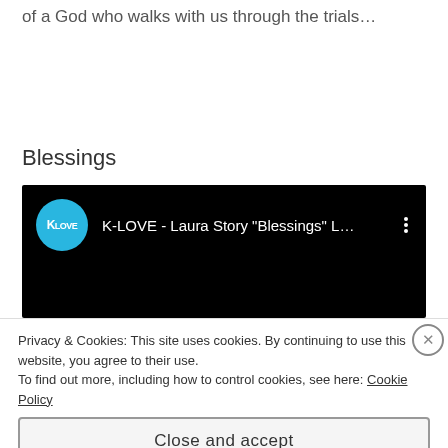of a God who walks with us through the trials...
Blessings
[Figure (screenshot): YouTube embed thumbnail for K-LOVE - Laura Story 'Blessings' L... video, showing K-LOVE channel icon (blue circle) and video title on black background]
Privacy & Cookies: This site uses cookies. By continuing to use this website, you agree to their use.
To find out more, including how to control cookies, see here: Cookie Policy
Close and accept